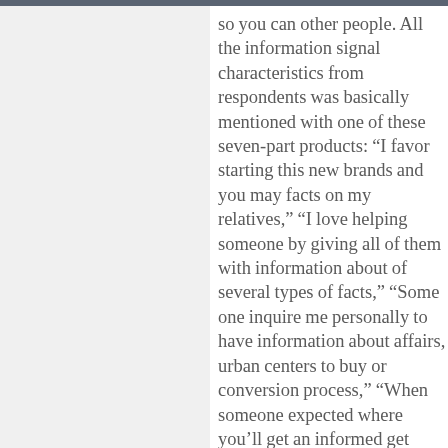so you can other people. All the information signal characteristics from respondents was basically mentioned with one of these seven-part products: “I favor starting this new brands and you may facts on my relatives,” “I love helping someone by giving all of them with information about of several types of facts,” “Some one inquire me personally to have information about affairs, urban centers to buy or conversion process,” “When someone expected where you’ll get an informed get toward numerous sorts of facts, I can simply tell him or